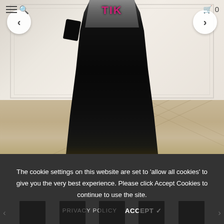[Figure (photo): A woman wearing a black sequined/velvet long gown with geometric pattern, holding a black clutch purse. She stands in a white paneled room with light wood herringbone floor. Navigation arrows (< >) are overlaid on the image. The image is a fashion/e-commerce product photo.]
The cookie settings on this website are set to 'allow all cookies' to give you the very best experience. Please click Accept Cookies to continue to use the site.
PRIVACY POLICY   ACCEPT ✓